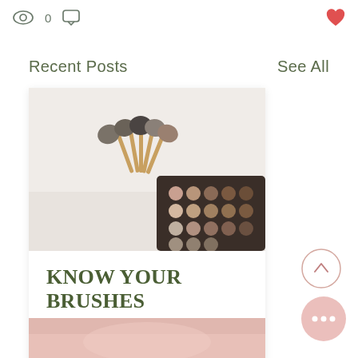[Figure (other): Top bar with eye icon showing 0 views, comment bubble icon, and red heart icon on the right]
Recent Posts
See All
[Figure (photo): Overhead photo of makeup brushes clustered together with a dark eyeshadow palette visible in the bottom right corner, on a light grey/white background]
KNOW YOUR BRUSHES
[Figure (other): Card footer with eye icon (0 views), comment icon (0 comments), and red heart icon]
[Figure (other): Circular scroll-up button with upward chevron arrow]
[Figure (other): Pink circular more-options button with three dots]
[Figure (photo): Bottom peeking pink/rose toned image partially visible at the bottom of the page]